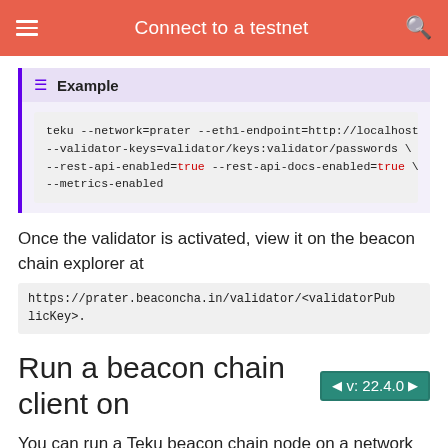Connect to a testnet
Example
[Figure (screenshot): Code block showing teku command with --network=prater --eth1-endpoint=http://localhost --validator-keys=validator/keys:validator/passwords \ --rest-api-enabled=true --rest-api-docs-enabled=true \ --metrics-enabled]
Once the validator is activated, view it on the beacon chain explorer at
https://prater.beaconcha.in/validator/<validatorPublicKey>.
Run a beacon chain client on
You can run a Teku beacon chain node on a network without any validators.